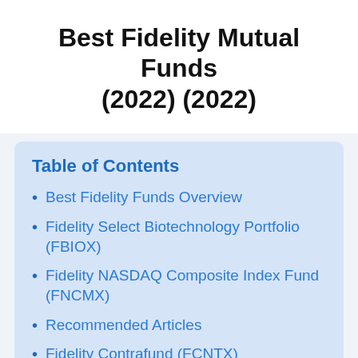Best Fidelity Mutual Funds (2022) (2022)
Table of Contents
Best Fidelity Funds Overview
Fidelity Select Biotechnology Portfolio (FBIOX)
Fidelity NASDAQ Composite Index Fund (FNCMX)
Recommended Articles
Fidelity Contrafund (FCNTX)
Best Fidelity Asset Allocation Funds